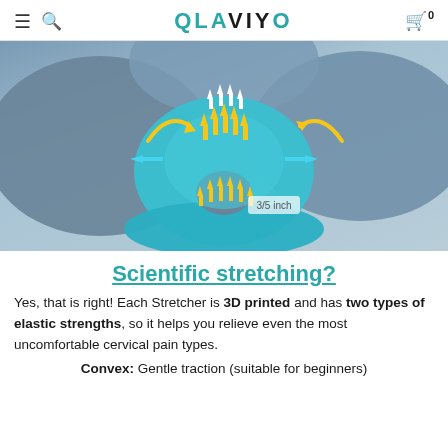QLAVIYO
[Figure (photo): 3D rendered cervical neck stretcher/traction device in teal/blue color with arrows indicating direction of elastic stretch forces. The device has a donut/crescent shape with yellow upward arrows and cyan horizontal arrows. Text overlay '3/5 inch' marks a dimension. Background shows gray pillow shapes.]
Scientific stretching?
Yes, that is right! Each Stretcher is 3D printed and has two types of elastic strengths, so it helps you relieve even the most uncomfortable cervical pain types.
Convex: Gentle traction (suitable for beginners)